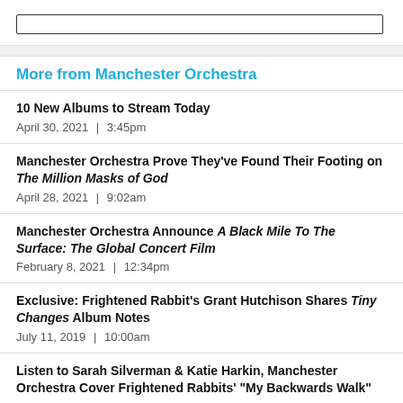More from Manchester Orchestra
10 New Albums to Stream Today
April 30, 2021 | 3:45pm
Manchester Orchestra Prove They've Found Their Footing on The Million Masks of God
April 28, 2021 | 9:02am
Manchester Orchestra Announce A Black Mile To The Surface: The Global Concert Film
February 8, 2021 | 12:34pm
Exclusive: Frightened Rabbit's Grant Hutchison Shares Tiny Changes Album Notes
July 11, 2019 | 10:00am
Listen to Sarah Silverman & Katie Harkin, Manchester Orchestra Cover Frightened Rabbits' "My Backwards Walk"